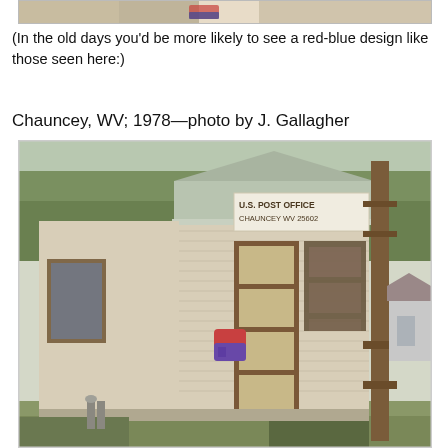[Figure (photo): Top portion of a cropped photo (partially visible at top of page)]
(In the old days you'd be more likely to see a red-blue design like those seen here:)
Chauncey, WV; 1978—photo by J. Gallagher
[Figure (photo): Photograph of a small US Post Office building in Chauncey, WV, taken in 1978. The building is a small tan/beige horizontal siding structure with a gabled roof. A sign reads 'U.S. POST OFFICE CHAUNCEY WV 25602'. A red-blue collection mailbox is mounted near the front door. A large utility pole stands to the right of the building.]